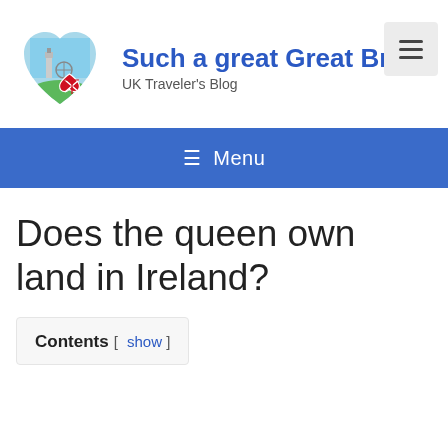Such a great Great Br
UK Traveler's Blog
[Figure (logo): Heart-shaped logo with UK flag, Big Ben, and cityscape illustration]
≡ Menu
Does the queen own land in Ireland?
Contents [ show ]